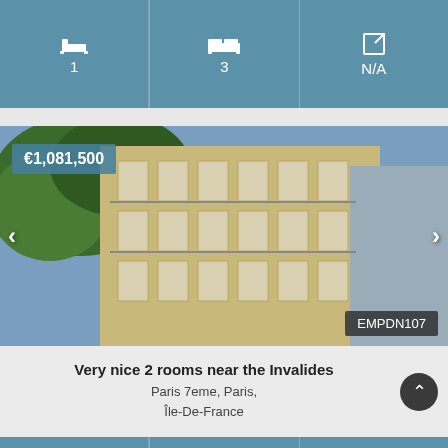| Bathrooms | Bedrooms | Area |
| --- | --- | --- |
| 1 | 3 | N/A |
[Figure (photo): Exterior photo of a Haussmann-style Parisian apartment building with iron balconies, stone facade, and trees in foreground. Price badge €1,081,500 in top-left, reference EMPDN107 in bottom-right.]
Very nice 2 rooms near the Invalides
Paris 7eme, Paris, Île-De-France
| Bathrooms | Bedrooms | Area |
| --- | --- | --- |
| 1 | 1 | N/A |